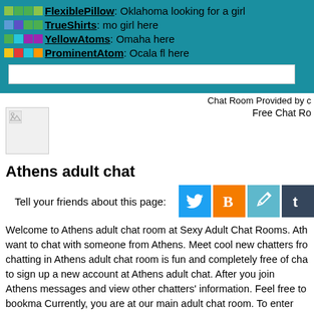FlexiblePillow: Oklahoma looking for a girl
TrueShirts: mo girl here
YellowAtoms: Omaha here
ProminentAtom: Ocala fl here
Chat Room Provided by c
Free Chat Ro
[Figure (other): Broken image placeholder in ad area]
Athens adult chat
Tell your friends about this page:
[Figure (infographic): Social share buttons: Twitter, Blogger, pencil/edit, Tumblr]
Welcome to Athens adult chat room at Sexy Adult Chat Rooms. Ath... want to chat with someone from Athens. Meet cool new chatters fro... chatting in Athens adult chat room is fun and completely free of cha... to sign up a new account at Athens adult chat. After you join Athens... messages and view other chatters' information. Feel free to bookma... Currently, you are at our main adult chat room. To enter Athens adu... and select Athens Chat from the menu. This is a clean chat room. C... sex, please consult your search engine.